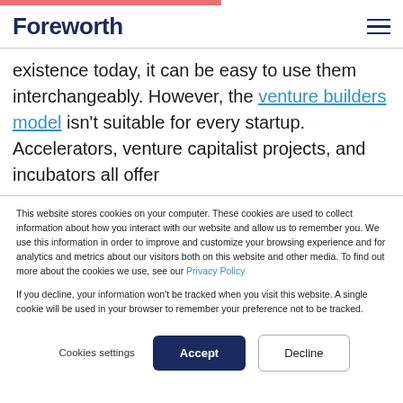Foreworth
existence today, it can be easy to use them interchangeably. However, the venture builders model isn't suitable for every startup. Accelerators, venture capitalist projects, and incubators all offer
This website stores cookies on your computer. These cookies are used to collect information about how you interact with our website and allow us to remember you. We use this information in order to improve and customize your browsing experience and for analytics and metrics about our visitors both on this website and other media. To find out more about the cookies we use, see our Privacy Policy

If you decline, your information won't be tracked when you visit this website. A single cookie will be used in your browser to remember your preference not to be tracked.
Cookies settings | Accept | Decline